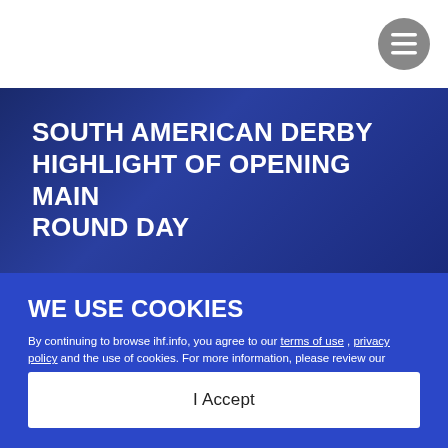[Figure (other): Hamburger menu icon button, circular gray background, top right corner]
SOUTH AMERICAN DERBY HIGHLIGHT OF OPENING MAIN ROUND DAY
WE USE COOKIES
By continuing to browse ihf.info, you agree to our terms of use , privacy policy and the use of cookies. For more information, please review our cookie policy.
I Accept